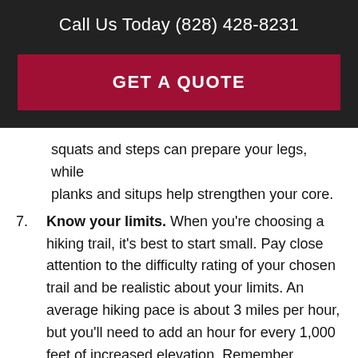Call Us Today (828) 428-8231
GET A QUOTE
squats and steps can prepare your legs, while planks and situps help strengthen your core.
7. Know your limits. When you're choosing a hiking trail, it's best to start small. Pay close attention to the difficulty rating of your chosen trail and be realistic about your limits. An average hiking pace is about 3 miles per hour, but you'll need to add an hour for every 1,000 feet of increased elevation. Remember, choosing a hike with too much distance or elevation can leave you sore – or worse, stranded.